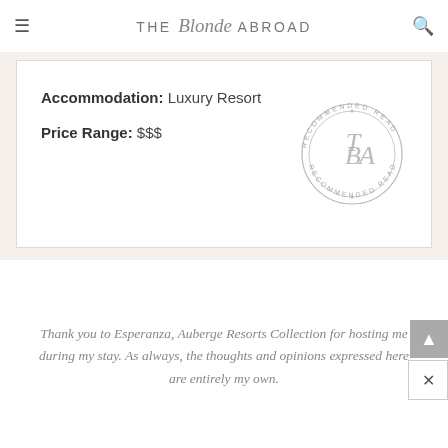THE Blonde ABROAD
Accommodation: Luxury Resort
Price Range: $$$
[Figure (logo): Circular stamp reading 'RECOMMENDED READ' around the perimeter with stylized TBA monogram in the center]
Thank you to Esperanza, Auberge Resorts Collection for hosting me during my stay. As always, the thoughts and opinions expressed here are entirely my own.